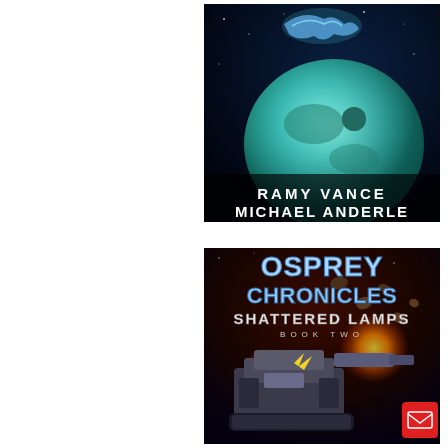[Figure (illustration): Book cover for a sci-fi novel showing a glowing planet in space with a spacecraft or figure above it, teal/blue color scheme. Author names RAMY VANCE and MICHAEL ANDERLE displayed at the bottom of the cover in white metallic futuristic font.]
[Figure (illustration): Book cover for 'Osprey Chronicles: Shattered Lamps, Book Two' - sci-fi action scene with large robotic/mech vehicles, explosions, asteroids, and spacecraft in a fiery red/orange space scene. Title text in large metallic blue font at top.]
[Figure (logo): Red square email/envelope icon button in the bottom right corner.]